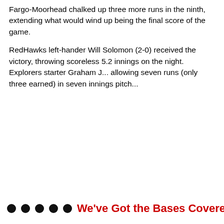Fargo-Moorhead chalked up three more runs in the ninth, ext... wind up being the final score of the game.
RedHawks left-hander Will Solomon (2-0) received the victory... scoreless 5.2 innings on the night. Explorers starter Graham J... allowing seven runs (only three earned) in seven innings pitch...
• • • • • We've Got the Bases Covered b...